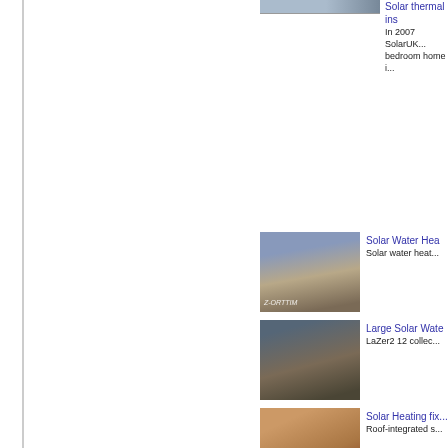[Figure (photo): Partial top image of solar thermal installation, cropped at top of page]
Solar thermal ins...
In 2007 SolarUK... bedroom home i...
[Figure (photo): Photo of a two-storey white house with solar panels on the roof, with Z-ORTTIM watermark]
Solar Water Hea...
Solar water heat...
[Figure (photo): Photo of a large house with dark solar water collectors on the roof]
Large Solar Wate...
LaZer2 12 collec...
[Figure (photo): Photo of brick houses with roof-integrated solar heating panels on tiled roofs]
Solar Heating fix...
Roof-integrated s...
[Figure (photo): Close-up image of solar panels on a roof in Sussex, with blue sky and converging lines]
Solar Panels Sus...
Image shows a c... Sussex